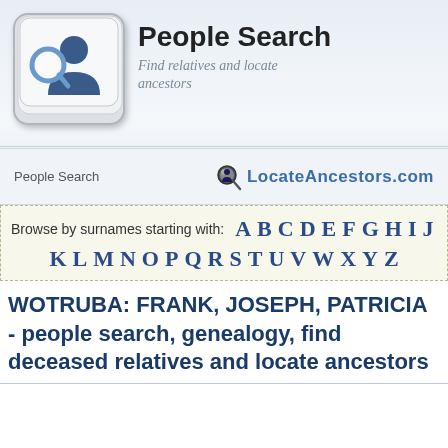[Figure (logo): Keyboard key icon with magnifying glass and person silhouette logo for People Search / LocateAncestors.com]
People Search
Find relatives and locate ancestors
People Search   LocateAncestors.com
Browse by surnames starting with: A B C D E F G H I J K L M N O P Q R S T U V W X Y Z
WOTRUBA: FRANK, JOSEPH, PATRICIA - people search, genealogy, find deceased relatives and locate ancestors